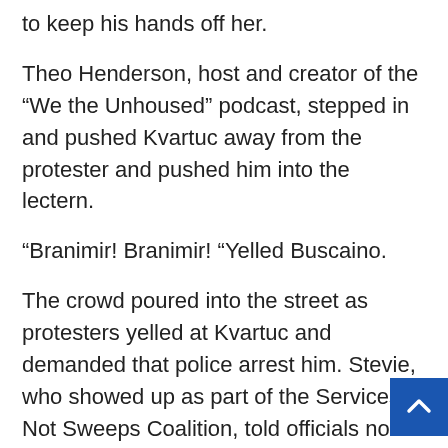to keep his hands off her.
Theo Henderson, host and creator of the “We the Unhoused” podcast, stepped in and pushed Kvartuc away from the protester and pushed him into the lectern.
“Branimir! Branimir! “Yelled Buscaino.
The crowd poured into the street as protesters yelled at Kvartuc and demanded that police arrest him. Stevie, who showed up as part of the Services Not Sweeps Coalition, told officials not to protect Kvartuc.
“This man grabbed my shield and then kicked me with his elbow,” she told the Times. “It’s all on video. And then the whole crew came because we won’t let men attack women, either in front of or in front of the